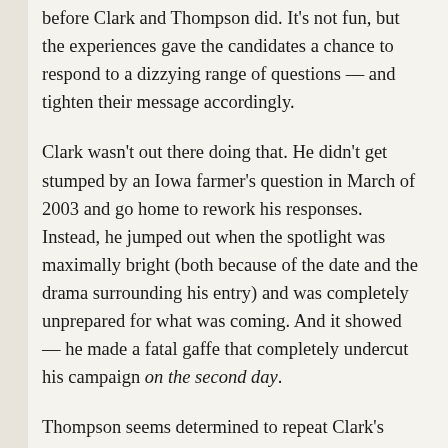before Clark and Thompson did. It's not fun, but the experiences gave the candidates a chance to respond to a dizzying range of questions — and tighten their message accordingly.
Clark wasn't out there doing that. He didn't get stumped by an Iowa farmer's question in March of 2003 and go home to rework his responses. Instead, he jumped out when the spotlight was maximally bright (both because of the date and the drama surrounding his entry) and was completely unprepared for what was coming. And it showed — he made a fatal gaffe that completely undercut his campaign on the second day.
Thompson seems determined to repeat Clark's mistakes — and for similar reasons. Running for President is hard. You get asked a lot of diverse questions. It takes time to hear them all and master good, persuasive, politically safe